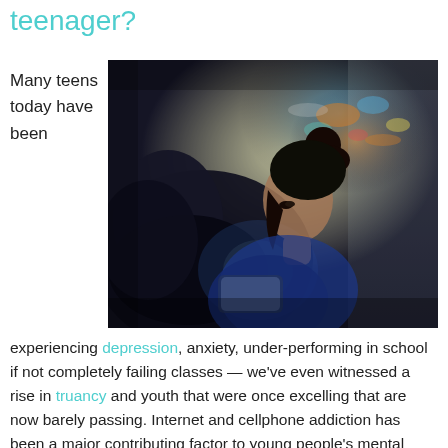teenager?
Many teens today have been
[Figure (photo): A teenage girl lying on a couch in a dark room, illuminated by a phone screen, with blurry city lights visible through a window in the background.]
experiencing depression, anxiety, under-performing in school if not completely failing classes — we've even witnessed a rise in truancy and youth that were once excelling that are now barely passing. Internet and cellphone addiction has been a major contributing factor to young people's mental